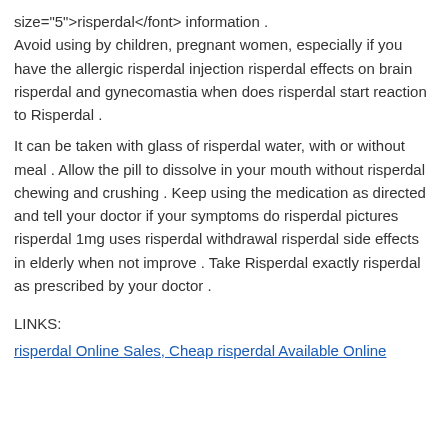size="5">risperdal</font> information . Avoid using by children, pregnant women, especially if you have the allergic risperdal injection risperdal effects on brain risperdal and gynecomastia when does risperdal start reaction to Risperdal .
It can be taken with glass of risperdal water, with or without meal . Allow the pill to dissolve in your mouth without risperdal chewing and crushing . Keep using the medication as directed and tell your doctor if your symptoms do risperdal pictures risperdal 1mg uses risperdal withdrawal risperdal side effects in elderly when not improve . Take Risperdal exactly risperdal as prescribed by your doctor .
LINKS:
risperdal Online Sales, Cheap risperdal Available Online